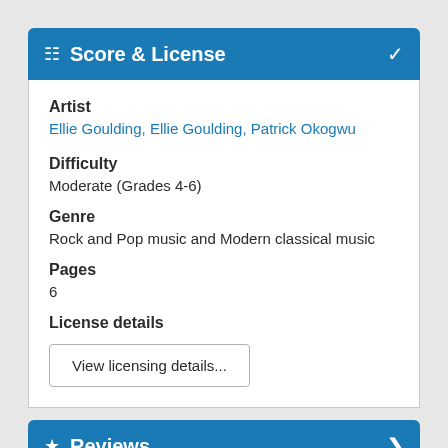Score & License
Artist
Ellie Goulding, Ellie Goulding, Patrick Okogwu
Difficulty
Moderate (Grades 4-6)
Genre
Rock and Pop music and Modern classical music
Pages
6
License details
View licensing details...
Reviews